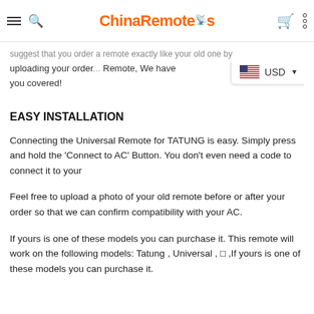ChinaRemotes
suggest that you order a remote exactly like your old one by uploading your order... Remote, We have you covered!
EASY INSTALLATION
Connecting the Universal Remote for TATUNG is easy. Simply press and hold the 'Connect to AC' Button. You don't even need a code to connect it to your
Feel free to upload a photo of your old remote before or after your order so that we can confirm compatibility with your AC.
If yours is one of these models you can purchase it. This remote will work on the following models: Tatung , Universal , □ ,If yours is one of these models you can purchase it.